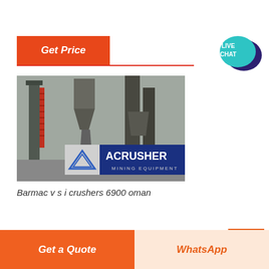Get Price
[Figure (photo): Industrial mining/crushing equipment facility with large metal silos, conveyor structures, and ladders. ACRUSHER MINING EQUIPMENT logo visible at bottom of image.]
Barmac v s i crushers 6900 oman
[Figure (other): LIVE CHAT speech bubble icon in teal and dark blue]
Get a Quote
WhatsApp